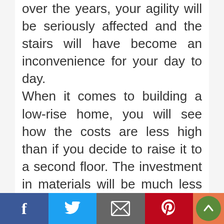over the years, your agility will be seriously affected and the stairs will have become an inconvenience for your day to day. When it comes to building a low-rise home, you will see how the costs are less high than if you decide to raise it to a second floor. The investment in materials will be much less than if you decide to make a house popularly known as “folded.” Although you can build a double-height house with a patio, normally the dimensions of this area are not usually as large as in houses with a ground floor. Remember that a
[Figure (other): Social sharing bar with Facebook, Twitter, Email, Pinterest buttons and a scroll-to-top green circle button]